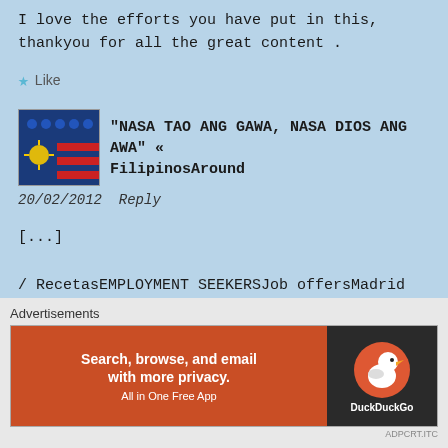I love the efforts you have put in this, thankyou for all the great content .
Like
[Figure (logo): Filipino community avatar with people icons, Philippine flag and stripes]
“NASA TAO ANG GAWA, NASA DIOS ANG AWA” « FilipinosAround
20/02/2012 Reply
[...]
/ RecetasEMPLOYMENT SEEKERSJob offersMadrid job offer/sInternational
Advertisements
[Figure (screenshot): DuckDuckGo advertisement banner: Search, browse, and email with more privacy. All in One Free App]